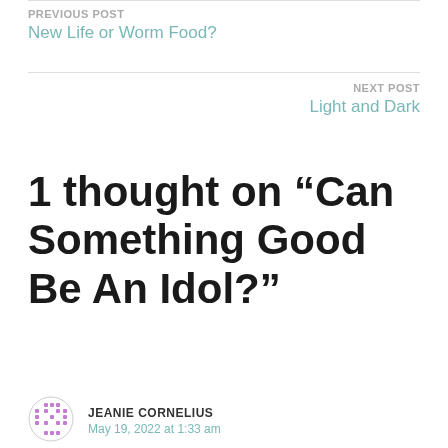PREVIOUS POST
New Life or Worm Food?
NEXT POST
Light and Dark
1 thought on “Can Something Good Be An Idol?”
JEANIE CORNELIUS
May 19, 2022 at 1:33 am